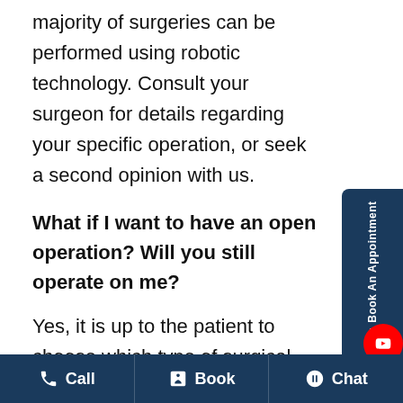majority of surgeries can be performed using robotic technology. Consult your surgeon for details regarding your specific operation, or seek a second opinion with us.
What if I want to have an open operation? Will you still operate on me?
Yes, it is up to the patient to choose which type of surgical procedure he/she wants. If open procedure is what you want, we will be there to help you. Dr. Aditya is trained in some of the best institutes for open surgery
Call   Book   Chat